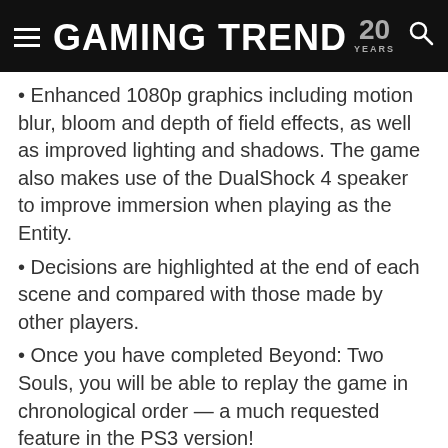GAMING TREND 20 YEARS
Enhanced 1080p graphics including motion blur, bloom and depth of field effects, as well as improved lighting and shadows. The game also makes use of the DualShock 4 speaker to improve immersion when playing as the Entity.
Decisions are highlighted at the end of each scene and compared with those made by other players.
Once you have completed Beyond: Two Souls, you will be able to replay the game in chronological order — a much requested feature in the PS3 version!
Increased difficulty in certain fight